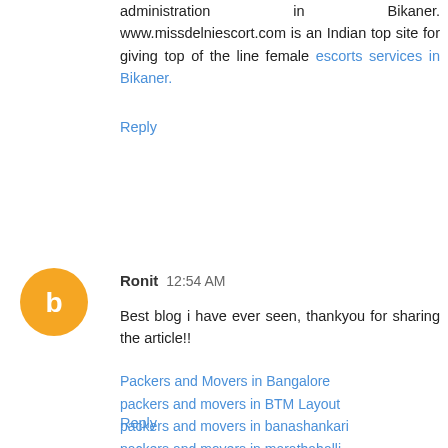administration in Bikaner. www.missdelniescort.com is an Indian top site for giving top of the line female escorts services in Bikaner.
Reply
Ronit  12:54 AM
Best blog i have ever seen, thankyou for sharing the article!!
Packers and Movers in Bangalore
packers and movers in BTM Layout
packers and movers in banashankari
packers and movers in marathahalli
Packers and Movers in Koramangala
Packers and Movers in Madiwala
Packers and Movers in Shivaji Nagar
Packers and Movers in Vijay Nagar
Packers and Movers in Hebbal
Reply